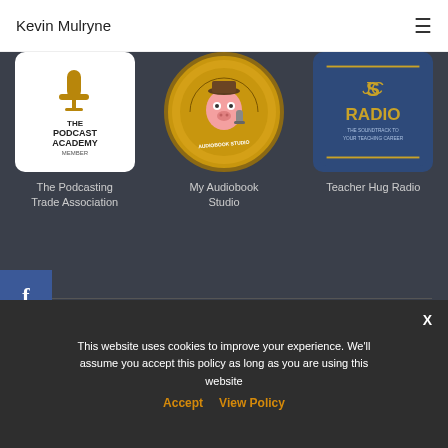Kevin Mulryne ☰
[Figure (logo): The Podcast Academy Member logo — gold microphone on white background with bold text]
[Figure (logo): My Audiobook Studio circular badge logo — cartoon character with microphone on gold/yellow background]
[Figure (logo): Teacher Hug Radio logo — gold text on dark blue background with The Soundtrack to Your Teaching Career tagline]
The Podcasting Trade Association
My Audiobook Studio
Teacher Hug Radio
[Figure (logo): Facebook share button — white f on blue background]
CONTACT   ABOUT
This website uses cookies to improve your experience. We'll assume you accept this policy as long as you are using this website Accept View Policy